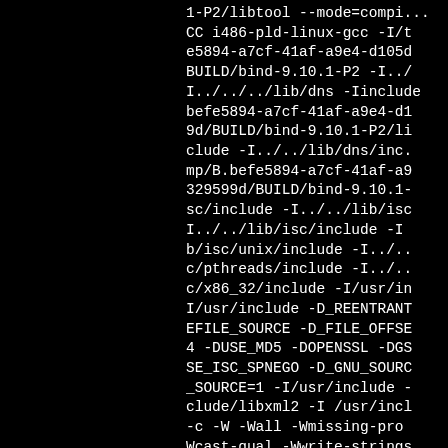1-P2/libtool --mode=compi...
CC i486-pld-linux-gcc -I/t
e5894-a7cf-41af-a9e4-d105d
BUILD/bind-9.10.1-P2 -I../
I../../../lib/dns -Iinclude
befe5894-a7cf-41af-a9e4-d1
9d/BUILD/bind-9.10.1-P2/li
clude -I../../lib/dns/inc.
mp/B.befe5894-a7cf-41af-a9
329599d/BUILD/bind-9.10.1-
sc/include -I../../lib/isc
I../../lib/isc/include -I
b/isc/unix/include -I../../
c/pthreads/include -I../../
c/x86_32/include -I/usr/in
I/usr/include -D_REENTRANT
EFILE_SOURCE -D_FILE_OFFSE
4 -DUSE_MD5 -DOPENSSL -DGS
SE_ISC_SPNEGO -D_GNU_SOURC
_SOURCE=1 -I/usr/include -
clude/libxml2 -I /usr/incl
-c -W -Wall -Wmissing-pro
Wcast-qual -Wwrite-strings
t -Wpointer-arith -fno...